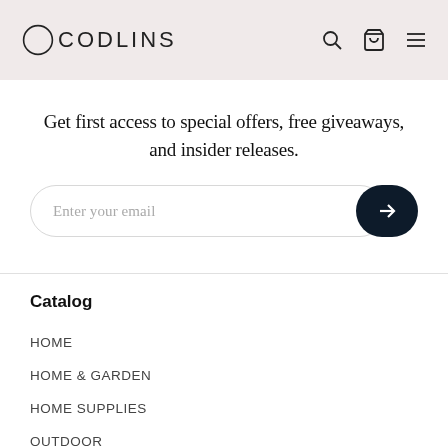Ocodlins
Get first access to special offers, free giveaways, and insider releases.
Enter your email
Catalog
HOME
HOME & GARDEN
HOME SUPPLIES
OUTDOOR
CLOTHING
YEAR END SALE